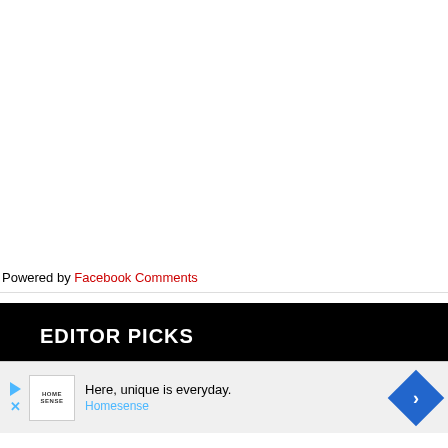Powered by Facebook Comments
EDITOR PICKS
2022 Preview: Alabama Crimson Tide
[Figure (screenshot): Advertisement banner for Homesense: 'Here, unique is everyday.' with Homesense logo, play and close buttons, and a blue diamond navigation arrow icon.]